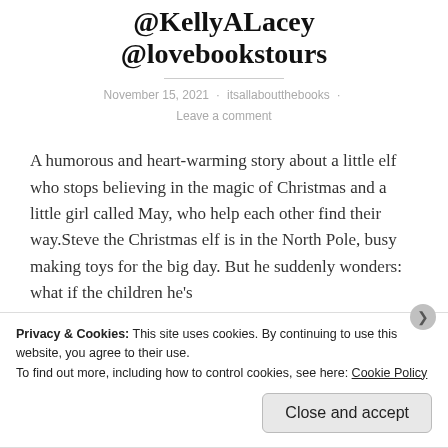@KellyALacey @lovebookstours
November 15, 2021 · itsallaboutthebooks · Leave a comment
A humorous and heart-warming story about a little elf who stops believing in the magic of Christmas and a little girl called May, who help each other find their way.Steve the Christmas elf is in the North Pole, busy making toys for the big day. But he suddenly wonders: what if the children he's
Privacy & Cookies: This site uses cookies. By continuing to use this website, you agree to their use.
To find out more, including how to control cookies, see here: Cookie Policy
Close and accept